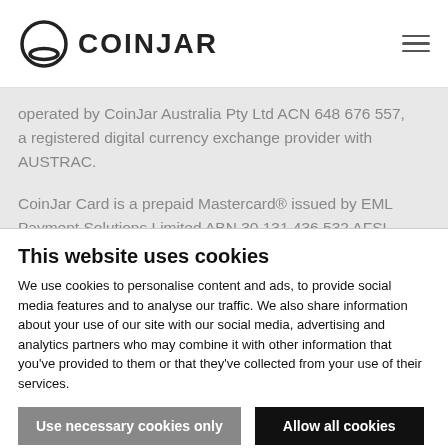COINJAR
operated by CoinJar Australia Pty Ltd ACN 648 676 557, a registered digital currency exchange provider with AUSTRAC.
CoinJar Card is a prepaid Mastercard® issued by EML Payment Solutions Limited ABN 30 131 436 532 AFSL 404131 pursuant to license by Mastercard Asia/Pacific Pte. Ltd. CoinJar Australia Pty Ltd is an authorised representative of EML Payment Solutions Limited. We recommend you consider the Product Disclosure
This website uses cookies
We use cookies to personalise content and ads, to provide social media features and to analyse our traffic. We also share information about your use of our site with our social media, advertising and analytics partners who may combine it with other information that you've provided to them or that they've collected from your use of their services.
Use necessary cookies only
Allow all cookies
Show details